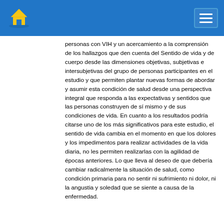Navigation header with logo and menu button
personas con VIH y un acercamiento a la comprensión de los hallazgos que den cuenta del Sentido de vida y de cuerpo desde las dimensiones objetivas, subjetivas e intersubjetivas del grupo de personas participantes en el estudio y que permiten plantar nuevas formas de abordar y asumir esta condición de salud desde una perspectiva integral que responda a las expectativas y sentidos que las personas construyen de sí mismo y de sus condiciones de vida. En cuanto a los resultados podría citarse uno de los más significativos para este estudio, el sentido de vida cambia en el momento en que los dolores y los impedimentos para realizar actividades de la vida diaria, no les permiten realizarlas con la agilidad de épocas anteriores. Lo que lleva al deseo de que debería cambiar radicalmente la situación de salud, como condición primaria para no sentir ni sufrimiento ni dolor, ni la angustia y soledad que se siente a causa de la enfermedad.